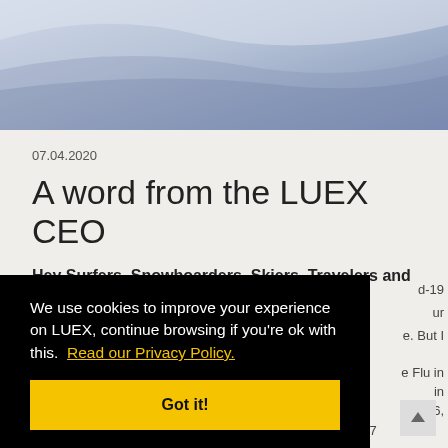[Figure (photo): Blue/grey abstract background image, likely sky or water, at top of page]
07.04.2020
A word from the LUEX CEO
Hey Surfers, Snowboarders, Skiers, Travelers and Clients of LUEX!
d-19 ur e. But I e Flu in in 016, and all of Bali's Mount Agung's periodic eruptions from 2017
We use cookies to improve your experience on LUEX, continue browsing if you're ok with this.  Read our Privacy Policy.
Got it!